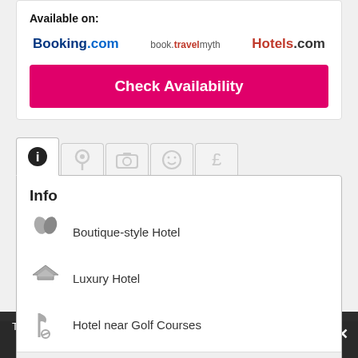Available on:
[Figure (logo): Booking.com logo]
[Figure (logo): book.travelmyth logo]
[Figure (logo): Hotels.com logo]
Check Availability
Info
Boutique-style Hotel
Luxury Hotel
Hotel near Golf Courses
Show more
Categories 1
This website uses cookies. By browsing our site you agree to the use of cookies.